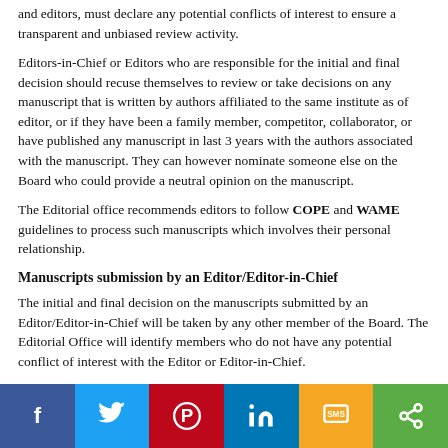and editors, must declare any potential conflicts of interest to ensure a transparent and unbiased review activity.
Editors-in-Chief or Editors who are responsible for the initial and final decision should recuse themselves to review or take decisions on any manuscript that is written by authors affiliated to the same institute as of editor, or if they have been a family member, competitor, collaborator, or have published any manuscript in last 3 years with the authors associated with the manuscript. They can however nominate someone else on the Board who could provide a neutral opinion on the manuscript.
The Editorial office recommends editors to follow COPE and WAME guidelines to process such manuscripts which involves their personal relationship.
Manuscripts submission by an Editor/Editor-in-Chief
The initial and final decision on the manuscripts submitted by an Editor/Editor-in-Chief will be taken by any other member of the Board. The Editorial Office will identify members who do not have any potential conflict of interest with the Editor or Editor-in-Chief.
Acknowledgements